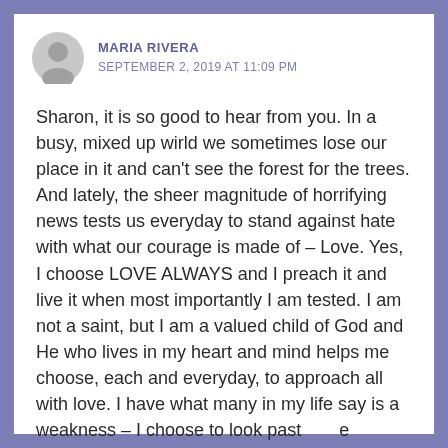MARIA RIVERA
SEPTEMBER 2, 2019 AT 11:09 PM
Sharon, it is so good to hear from you. In a busy, mixed up wirld we sometimes lose our place in it and can't see the forest for the trees. And lately, the sheer magnitude of horrifying news tests us everyday to stand against hate with what our courage is made of – Love. Yes, I choose LOVE ALWAYS and I preach it and live it when most importantly I am tested. I am not a saint, but I am a valued child of God and He who lives in my heart and mind helps me choose, each and everyday, to approach all with love. I have what many in my life say is a weakness – I choose to look past the hatefulness and try to understand the why. There is always a why. It is mostly hidden from us behind the